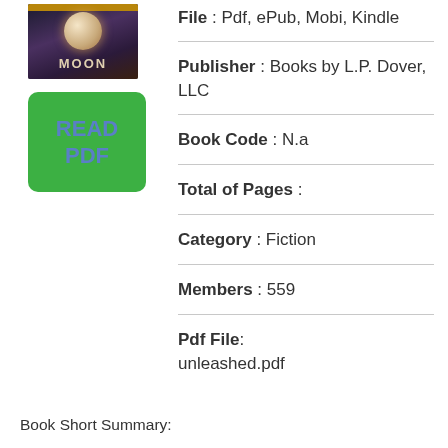[Figure (illustration): Book cover thumbnail for a book titled MOON with dark fantasy cover art]
[Figure (illustration): Green button with text READ PDF]
File : Pdf, ePub, Mobi, Kindle
Publisher : Books by L.P. Dover, LLC
Book Code : N.a
Total of Pages :
Category : Fiction
Members : 559
Pdf File:
unleashed.pdf
Book Short Summary: